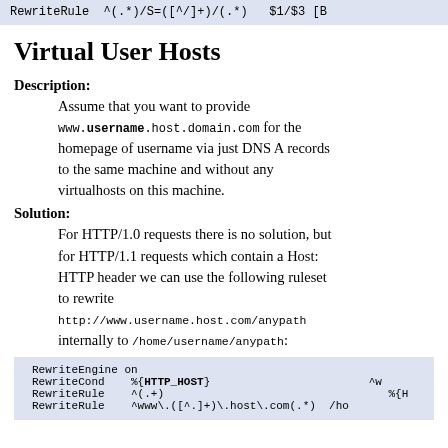[Figure (screenshot): Code block showing partial RewriteRule: RewriteRule ^(.*)/S=([^/]+)/(.*) $1/$3 [B]
Virtual User Hosts
Description: Assume that you want to provide www.username.host.domain.com for the homepage of username via just DNS A records to the same machine and without any virtualhosts on this machine.
Solution: For HTTP/1.0 requests there is no solution, but for HTTP/1.1 requests which contain a Host: HTTP header we can use the following ruleset to rewrite http://www.username.host.com/anypath internally to /home/username/anypath:
[Figure (screenshot): Code block: RewriteEngine on
RewriteCond %{HTTP_HOST} ^w...
RewriteRule ^(.+) %{H...
RewriteRule ^www\.([^.]+)\.host\.com(.*) /ho...]